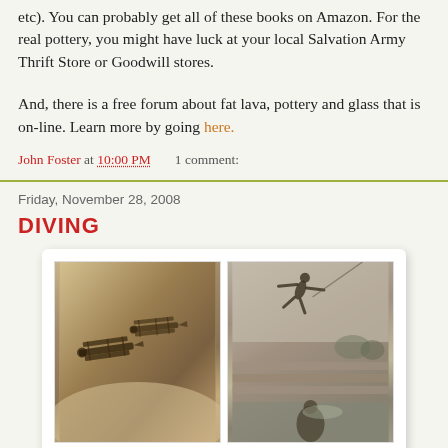etc). You can probably get all of these books on Amazon. For the real pottery, you might have luck at your local Salvation Army Thrift Store or Goodwill stores.
And, there is a free forum about fat lava, pottery and glass that is on-line. Learn more by going here.
John Foster at 10:00 PM   1 comment:
Friday, November 28, 2008
DIVING
[Figure (photo): Two vintage sepia photographs side by side: left shows two biplanes flying in formation; right shows a person diving into a swimming pool with another figure visible below.]